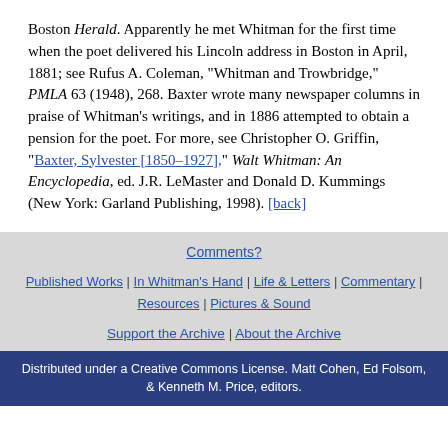Boston Herald. Apparently he met Whitman for the first time when the poet delivered his Lincoln address in Boston in April, 1881; see Rufus A. Coleman, "Whitman and Trowbridge," PMLA 63 (1948), 268. Baxter wrote many newspaper columns in praise of Whitman's writings, and in 1886 attempted to obtain a pension for the poet. For more, see Christopher O. Griffin, "Baxter, Sylvester [1850–1927]," Walt Whitman: An Encyclopedia, ed. J.R. LeMaster and Donald D. Kummings (New York: Garland Publishing, 1998). [back]
Comments? | Published Works | In Whitman's Hand | Life & Letters | Commentary | Resources | Pictures & Sound | Support the Archive | About the Archive | Distributed under a Creative Commons License. Matt Cohen, Ed Folsom, & Kenneth M. Price, editors.